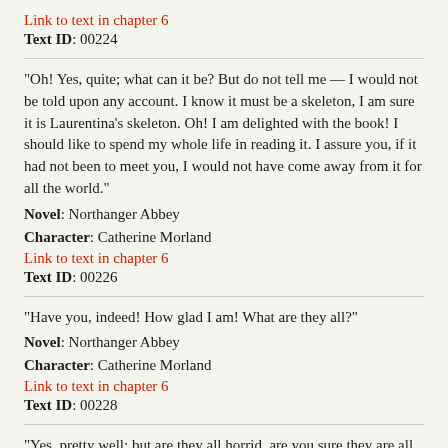Link to text in chapter 6
Text ID: 00224
“Oh! Yes, quite; what can it be? But do not tell me — I would not be told upon any account. I know it must be a skeleton, I am sure it is Laurentina’s skeleton. Oh! I am delighted with the book! I should like to spend my whole life in reading it. I assure you, if it had not been to meet you, I would not have come away from it for all the world.”
Novel: Northanger Abbey
Character: Catherine Morland
Link to text in chapter 6
Text ID: 00226
“Have you, indeed! How glad I am! What are they all?”
Novel: Northanger Abbey
Character: Catherine Morland
Link to text in chapter 6
Text ID: 00228
“Yes, pretty well; but are they all horrid, are you sure they are all